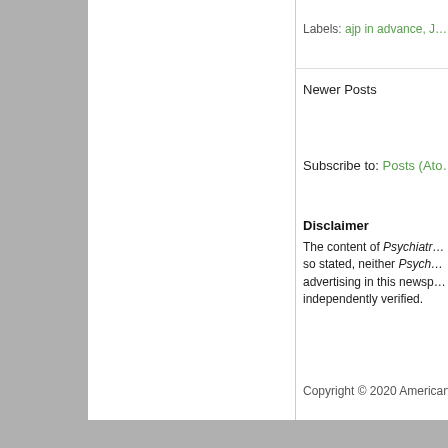Labels: ajp in advance, J…
Newer Posts
Subscribe to: Posts (Ato…
Disclaimer
The content of Psychiatr… so stated, neither Psych… advertising in this newsp… independently verified.
Copyright © 2020 American…